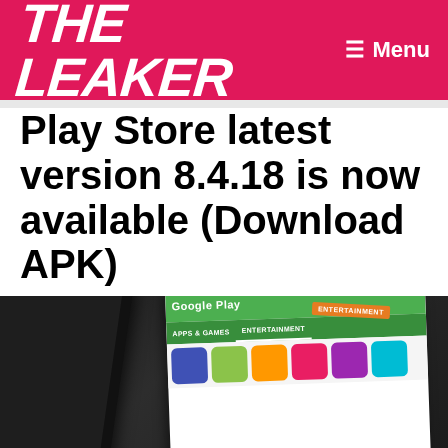THE LEAKER | Menu
Play Store latest version 8.4.18 is now available (Download APK)
Last Updated On November 2, 2017 by Akshay Mhatre
[Figure (photo): Two Android smartphones showing the Google Play Store interface with apps and games section visible, one device showing entertainment tab.]